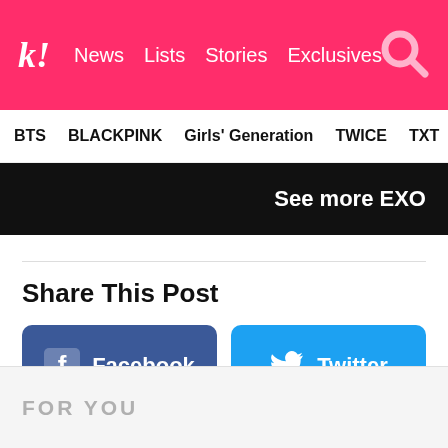k! News Lists Stories Exclusives
BTS BLACKPINK Girls' Generation TWICE TXT SEVE
See more EXO
Share This Post
Facebook
Twitter
FOR YOU